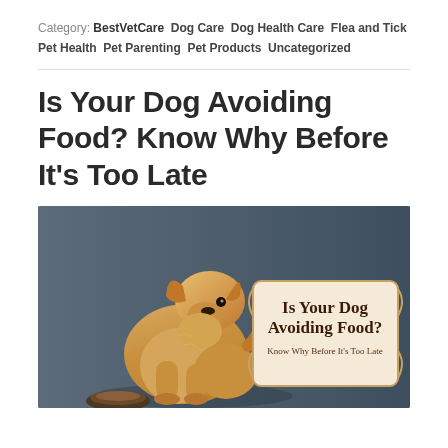Category: BestVetCare  Dog Care  Dog Health Care  Flea and Tick  Pet Health  Pet Parenting  Pet Products  Uncategorized
Is Your Dog Avoiding Food? Know Why Before It’s Too Late
[Figure (photo): Golden retriever dog sitting and looking downward at food bowl on dark grey background, with a decorative label overlay reading 'Is Your Dog Avoiding Food? Know Why Before It's Too Late']